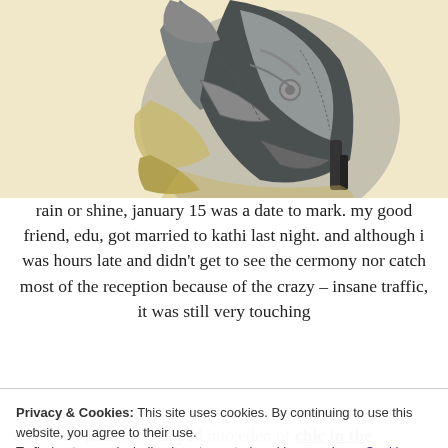[Figure (photo): Close-up photo of metallic/silver high-heeled sandals piled together on a light yellowish background]
rain or shine, january 15 was a date to mark. my good friend, edu, got married to kathi last night. and although i was hours late and didn't get to see the cermony nor catch most of the reception because of the crazy – insane traffic, it was still very touching
Privacy & Cookies: This site uses cookies. By continuing to use this website, you agree to their use.
To find out more, including how to control cookies, see here: Cookie Policy
and of all places, i bumped into eden of chic in the